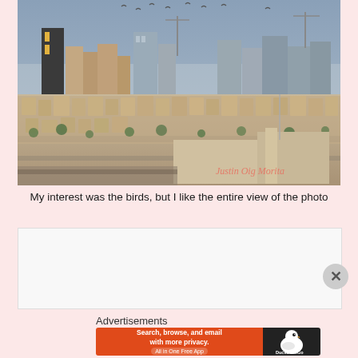[Figure (photo): Aerial cityscape photo showing a dense residential neighborhood with low-rise beige buildings in the foreground and mid-rise and high-rise buildings on the skyline in the background. Several birds are visible flying in the sky. A watermark in the lower-right corner reads 'Justin Oig Morita'. The sky is overcast and hazy.]
My interest was the birds, but I like the entire view of the photo
[Figure (other): Empty white/light grey advertisement placeholder box]
Advertisements
[Figure (other): DuckDuckGo advertisement banner. Left side is orange with text: 'Search, browse, and email with more privacy. All in One Free App'. Right side is dark with the DuckDuckGo duck logo.]